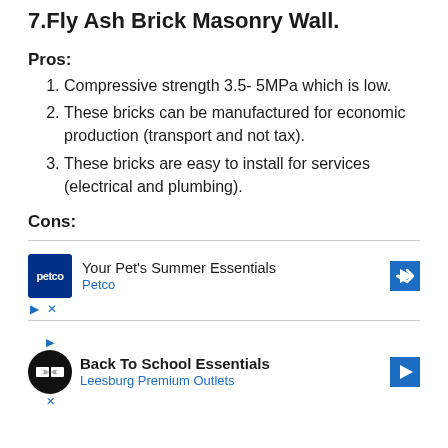7.Fly Ash Brick Masonry Wall.
Pros:
Compressive strength 3.5- 5MPa which is low.
These bricks can be manufactured for economic production (transport and not tax).
These bricks are easy to install for services (electrical and plumbing).
Cons:
[Figure (other): Petco advertisement: 'Your Pet's Summer Essentials' with Petco logo and navigation arrow icon]
[Figure (other): Leesburg Premium Outlets advertisement: 'Back To School Essentials' with circular logo and navigation arrow icon]